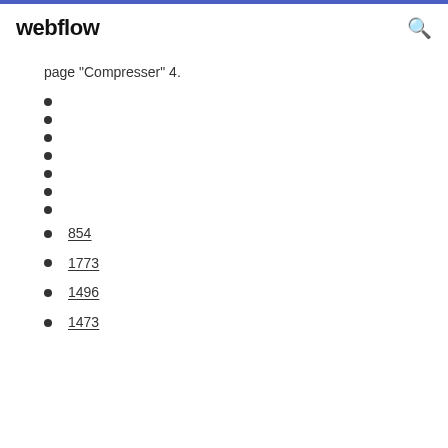webflow
page "Compresser" 4.
854
1773
1496
1473